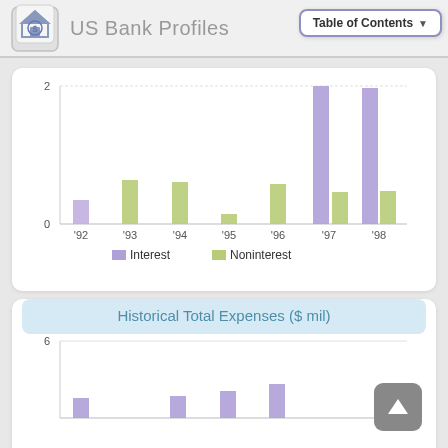US Bank Profiles
[Figure (grouped-bar-chart): ]
[Figure (grouped-bar-chart): Historical Total Expenses ($ mil)]